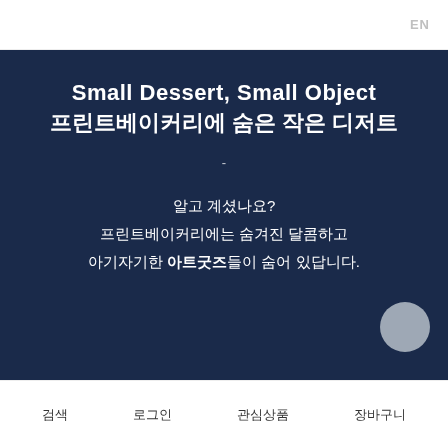EN
Small Dessert, Small Object
프린트베이커리에 숨은 작은 디저트
-
알고 계셨나요?
프린트베이커리에는 숨겨진 달콤하고
아기자기한 아트굿즈들이 숨어 있답니다.
검색   로그인   관심상품   장바구니